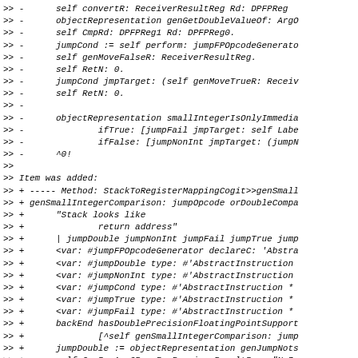>> -      self convertR: ReceiverResultReg Rd: DPFPReg
>> -      objectRepresentation genGetDoubleValueOf: ArgO
>> -      self CmpRd: DPFPReg1 Rd: DPFPReg0.
>> -      jumpCond := self perform: jumpFPOpcodeGenerato
>> -      self genMoveFalseR: ReceiverResultReg.
>> -      self RetN: 0.
>> -      jumpCond jmpTarget: (self genMoveTrueR: Receiv
>> -      self RetN: 0.
>> -
>> -      objectRepresentation smallIntegerIsOnlyImmedia
>> -              ifTrue: [jumpFail jmpTarget: self Labe
>> -              ifFalse: [jumpNonInt jmpTarget: (jumpN
>> -      ^0!
>>
>> Item was added:
>> + ----- Method: StackToRegisterMappingCogit>>genSmall
>> + genSmallIntegerComparison: jumpOpcode orDoubleCompa
>> +      "Stack looks like
>> +              return address"
>> +      | jumpDouble jumpNonInt jumpFail jumpTrue jump
>> +      <var: #jumpFPOpcodeGenerator declareC: 'Abstra
>> +      <var: #jumpDouble type: #'AbstractInstruction
>> +      <var: #jumpNonInt type: #'AbstractInstruction
>> +      <var: #jumpCond type: #'AbstractInstruction *
>> +      <var: #jumpTrue type: #'AbstractInstruction *
>> +      <var: #jumpFail type: #'AbstractInstruction *
>> +      backEnd hasDoublePrecisionFloatingPointSupport
>> +              [^self genSmallIntegerComparison: jump
>> +      jumpDouble := objectRepresentation genJumpNots
>> +      self CmpR: Arg0Reg R: ReceiverResultReg. "N.B
>> +      jumpTrue := self gen: jumpOpcode